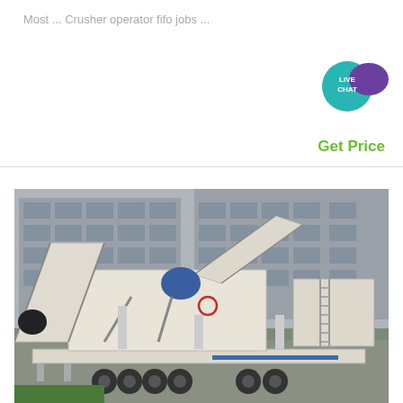Most … Crusher operator fifo jobs …
[Figure (illustration): Live Chat button/icon with teal circle and purple speech bubble]
Get Price
[Figure (photo): Mobile crushing plant / crusher machine on a flatbed semi-trailer truck, parked in front of a large industrial building. The machine is cream/white colored with multiple conveyor belts and mechanical components.]